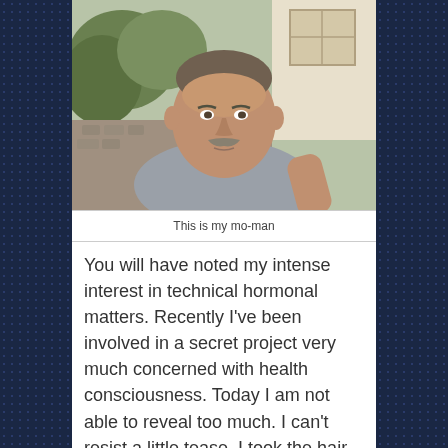[Figure (photo): Middle-aged man with a grey mustache wearing a grey t-shirt, taking a selfie outdoors with trees/foliage and a white building/window visible in the background.]
This is my mo-man
You will have noted my intense interest in technical hormonal matters. Recently I've been involved in a secret project very much concerned with health consciousness. Today I am not able to reveal too much. I can't resist a little tease. I took the hair cutting tools to